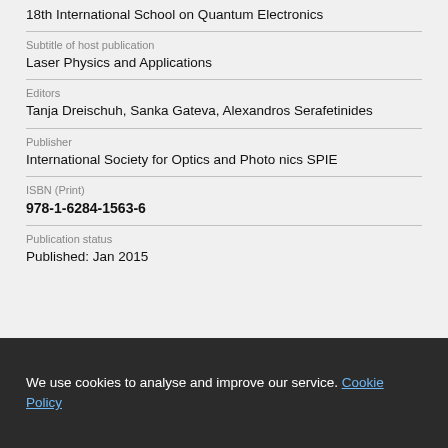18th International School on Quantum Electronics
Subtitle of host publication
Laser Physics and Applications
Editors
Tanja Dreischuh, Sanka Gateva, Alexandros Serafetinides
Publisher
International Society for Optics and Photonics SPIE
ISBN (Print)
978-1-6284-1563-6
Publication status
Published: Jan 2015
We use cookies to analyse and improve our service. Cookie Policy